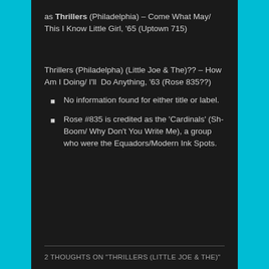as Thrillers (Philadelphia) – Come What May/ This I Know Little Girl, '65 (Uptown 715)
Thrillers (Philadelpha) (Little Joe & The)?? – How Am I Doing/ I'll  Do Anything, '63 (Rose 835??)
No information found for either title or label.
Rose #835 is credited as the 'Cardinals' (Sh-Boom/ Why Don't You Write Me), a group who were the Equadors/Modern Ink Spots.
2 THOUGHTS ON "THRILLERS (LITTLE JOE & THE)"